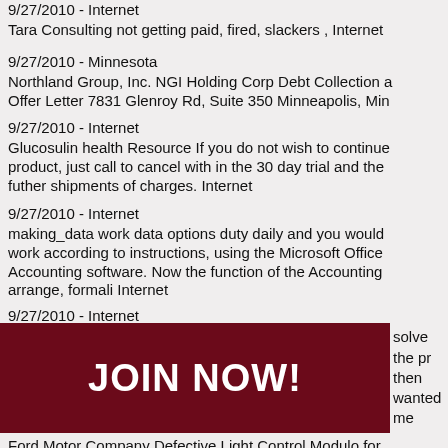9/27/2010 - Internet
Tara Consulting not getting paid, fired, slackers , Internet
9/27/2010 - Minnesota
Northland Group, Inc. NGI Holding Corp Debt Collection a Offer Letter 7831 Glenroy Rd, Suite 350 Minneapolis, Min
9/27/2010 - Internet
Glucosulin health Resource If you do not wish to continue product, just call to cancel with in the 30 day trial and the futher shipments of charges. Internet
9/27/2010 - Internet
making_data work data options duty daily and you would work according to instructions, using the Microsoft Office Accounting software. Now the function of the Accounting arrange, formali Internet
9/27/2010 - Internet
Zorro Law Ltd Aaron Gershfield Ian Harries Miriam Shaffr rip off report seeking information on this company london
9/27/2010 - Illinois
Grays Pointe Condo, Grayslake IL Unreasonable, rude, u untrustworthy Grayslake, Illinois
9/27/2010 - Internet
idn't solve the pr then wanted me et
[Figure (other): Dark red banner ad with white bold text reading JOIN NOW!]
Ford Motor Company Defective Light Control Modulo for